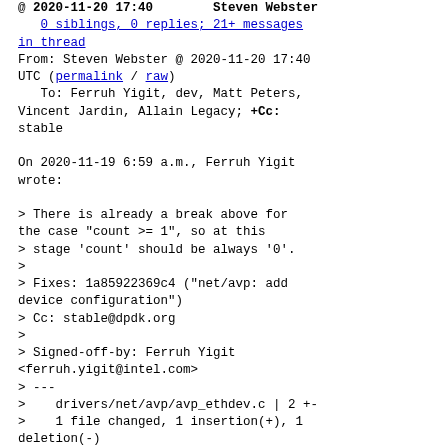@ 2020-11-20 17:40        Steven Webster
   0 siblings, 0 replies; 21+ messages in thread
From: Steven Webster @ 2020-11-20 17:40 UTC (permalink / raw)
   To: Ferruh Yigit, dev, Matt Peters, Vincent Jardin, Allain Legacy; +Cc: stable

On 2020-11-19 6:59 a.m., Ferruh Yigit wrote:

> There is already a break above for the case "count >= 1", so at this
> stage 'count' should be always '0'.
>
> Fixes: 1a85922369c4 ("net/avp: add device configuration")
> Cc: stable@dpdk.org
>
> Signed-off-by: Ferruh Yigit <ferruh.yigit@intel.com>
> ---
>    drivers/net/avp/avp_ethdev.c | 2 +-
>    1 file changed, 1 insertion(+), 1 deletion(-)
>
> diff --git a/drivers/net/avp/avp_ethdev.c b/drivers/net/avp/avp_ethdev.c
> index 5f0197b005..f521c03c03 100644